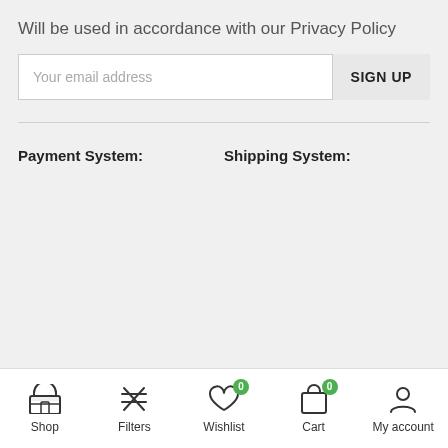Will be used in accordance with our Privacy Policy
Your email address
SIGN UP
Payment System:
Shipping System:
Shop  Filters  Wishlist 0  Cart 0  My account